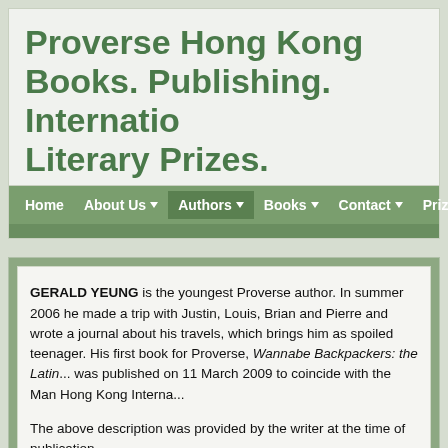Proverse Hong Kong Books. Publishing. International Literary Prizes.
Home | About Us | Authors | Books | Contact | Prizes | E...
GERALD YEUNG is the youngest Proverse author. In summer 2006 he made a trip with Justin, Louis, Brian and Pierre and wrote a journal about his travels, which brings him as spoiled teenager. His first book for Proverse, Wannabe Backpackers: the Latin..., was published on 11 March 2009 to coincide with the Man Hong Kong Interna...
The above description was provided by the writer at the time of publication.